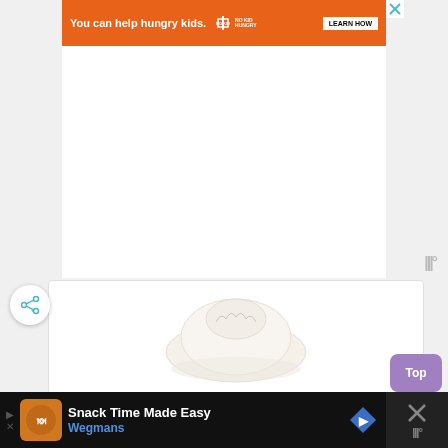[Figure (screenshot): Orange advertisement banner: 'You can help hungry kids.' with No Kid Hungry logo and 'LEARN HOW' button. X close button in top-right corner.]
[Figure (screenshot): White content area below the top ad banner, largely empty/blank white space with a Wordmark watermark icon in bottom-right corner.]
[Figure (screenshot): Share button (circle with share icon) on left, and a white card area showing a white/cream colored dumpling or bun food image.]
[Figure (screenshot): 'Top' button in purple/lavender color on the right side.]
[Figure (screenshot): Bottom advertisement bar: dark background with Wegmans 'Snack Time Made Easy' ad, including logo, text, navigation arrow icon, and X close button on right.]